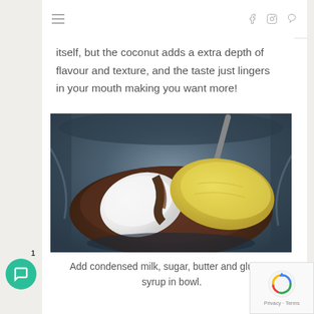Navigation bar with hamburger menu and social icons (Facebook, Instagram, Pinterest)
itself, but the coconut adds a extra depth of flavour and texture, and the taste just lingers in your mouth making you want more!
[Figure (photo): Photo of a mixing bowl containing brown sugar/cocoa mixture with butter, coconut oil, and what appears to be chocolate or caramel sauce on top, viewed from above]
Add condensed milk, sugar, butter and glucose syrup in bowl.